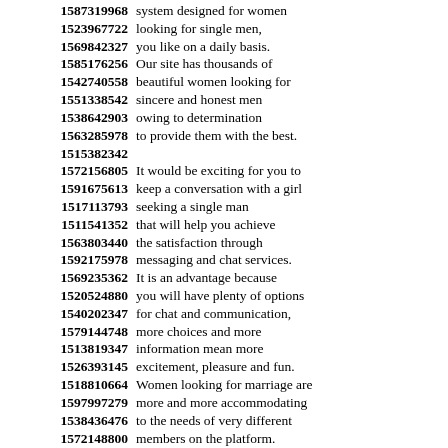1587319968 system designed for women
1523967722 looking for single men,
1569842327 you like on a daily basis.
1585176256 Our site has thousands of
1542740558 beautiful women looking for
1551338542 sincere and honest men
1538642903 owing to determination
1563285978 to provide them with the best.
1515382342
1572156805 It would be exciting for you to
1591675613 keep a conversation with a girl
1517113793 seeking a single man
1511541352 that will help you achieve
1563803440 the satisfaction through
1592175978 messaging and chat services.
1569235362 It is an advantage because
1520524880 you will have plenty of options
1540202347 for chat and communication,
1579144748 more choices and more
1513819347 information mean more
1526393145 excitement, pleasure and fun.
1518810664 Women looking for marriage are
1597997279 more and more accommodating
1538436476 to the needs of very different
1572148800 members on the platform.